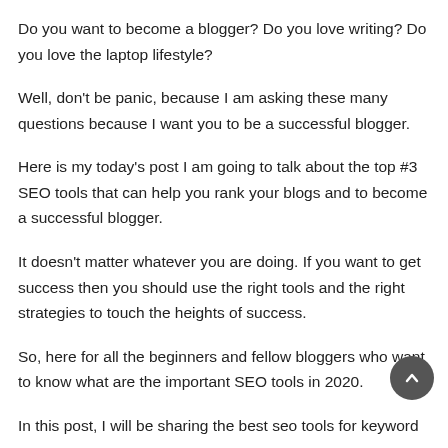Do you want to become a blogger? Do you love writing? Do you love the laptop lifestyle?
Well, don't be panic, because I am asking these many questions because I want you to be a successful blogger.
Here is my today's post I am going to talk about the top #3 SEO tools that can help you rank your blogs and to become a successful blogger.
It doesn't matter whatever you are doing. If you want to get success then you should use the right tools and the right strategies to touch the heights of success.
So, here for all the beginners and fellow bloggers who want to know what are the important SEO tools in 2020.
In this post, I will be sharing the best seo tools for keyword